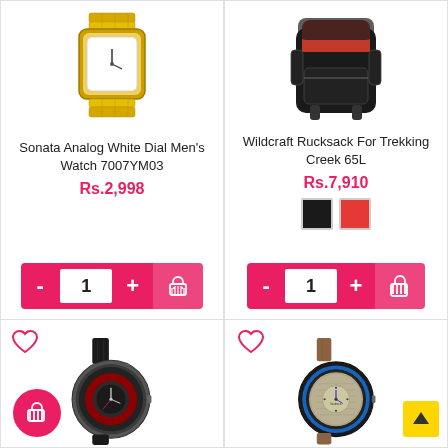[Figure (photo): Sonata analog watch with gold metal bracelet band]
Sonata Analog White Dial Men's Watch 7007YM03
Rs.2,998
[Figure (photo): Wildcraft Rucksack backpack with red interior visible, black exterior]
Wildcraft Rucksack For Trekking Creek 65L
Rs.7,910
[Figure (photo): Fastrack watch with dark dial, red face, black leather strap with red cart FAB button overlay]
[Figure (photo): Fastrack watch with blue bezel, skeletal dial, tan brown leather strap with back-to-top arrow overlay]